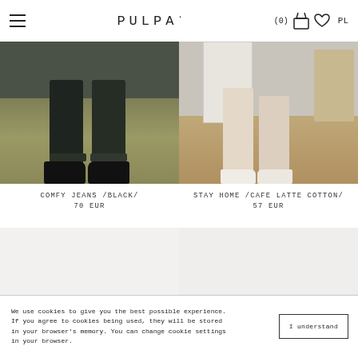PULPA· (0) PL
[Figure (photo): Product photo: lower half of person wearing dark navy/black jeans with cuffed ankles and black sneakers, standing on grass outdoors]
COMFY JEANS /BLACK/
70 EUR
[Figure (photo): Product photo: lower half of person wearing wide-leg light beige/cafe latte cotton pants with white sandals, standing on wooden floor indoors near white door]
STAY HOME /CAFE LATTE COTTON/
57 EUR
We use cookies to give you the best possible experience. If you agree to cookies being used, they will be stored in your browser's memory. You can change cookie settings in your browser.
I understand